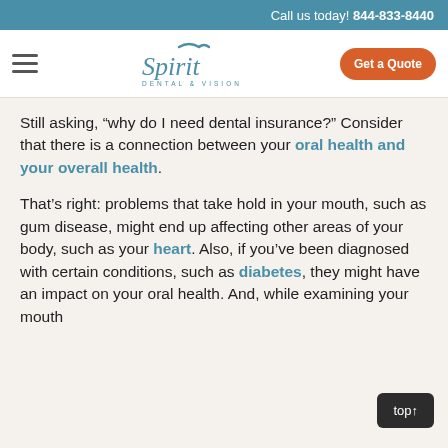Call us today! 844-833-8440
[Figure (logo): Spirit Dental & Vision logo with hamburger menu icon and Get a Quote button]
Still asking, “why do I need dental insurance?” Consider that there is a connection between your oral health and your overall health.
That’s right: problems that take hold in your mouth, such as gum disease, might end up affecting other areas of your body, such as your heart. Also, if you’ve been diagnosed with certain conditions, such as diabetes, they might have an impact on your oral health. And, while examining your mouth